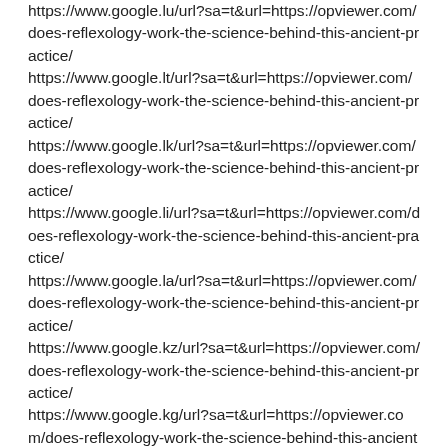https://www.google.lu/url?sa=t&url=https://opviewer.com/does-reflexology-work-the-science-behind-this-ancient-practice/
https://www.google.lt/url?sa=t&url=https://opviewer.com/does-reflexology-work-the-science-behind-this-ancient-practice/
https://www.google.lk/url?sa=t&url=https://opviewer.com/does-reflexology-work-the-science-behind-this-ancient-practice/
https://www.google.li/url?sa=t&url=https://opviewer.com/does-reflexology-work-the-science-behind-this-ancient-practice/
https://www.google.la/url?sa=t&url=https://opviewer.com/does-reflexology-work-the-science-behind-this-ancient-practice/
https://www.google.kz/url?sa=t&url=https://opviewer.com/does-reflexology-work-the-science-behind-this-ancient-practice/
https://www.google.kg/url?sa=t&url=https://opviewer.com/does-reflexology-work-the-science-behind-this-ancient-practice/